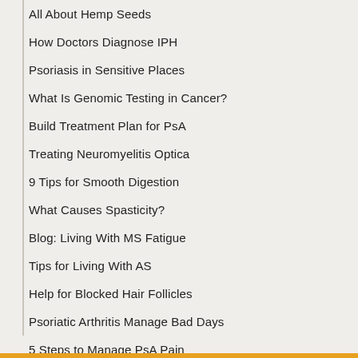All About Hemp Seeds
How Doctors Diagnose IPH
Psoriasis in Sensitive Places
What Is Genomic Testing in Cancer?
Build Treatment Plan for PsA
Treating Neuromyelitis Optica
9 Tips for Smooth Digestion
What Causes Spasticity?
Blog: Living With MS Fatigue
Tips for Living With AS
Help for Blocked Hair Follicles
Psoriatic Arthritis Manage Bad Days
5 Steps to Manage PsA Pain